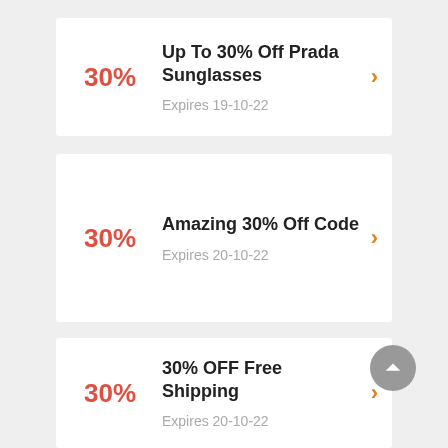30% — Up To 30% Off Prada Sunglasses — Expires 19-10-22
30% — Amazing 30% Off Code — Expires 20-10-22
30% — 30% OFF Free Shipping — Expires 20-10-22